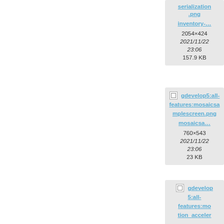[Figure (screenshot): File manager/wiki media listing showing image file cards with thumbnails, filenames as links, dimensions, dates, and file sizes. Partial view of a two-column grid of file cards.]
serialization.png
inventory-...
2054×424
2021/11/22 23:06
157.9 KB
jfxr...
951...
2021/...
23...
10.9...
gdevelop5:all-features:mosaicsamplescreen.png
mosaicsa...
760×543
2021/11/22 23:06
23 KB
gd...
5:...
feat...
tion_a...
ation...
motion...
1283...
2021/...
23...
6...
gdevelop5:all-features:motion_acceler...
gd...
5:...
feat...
tion...